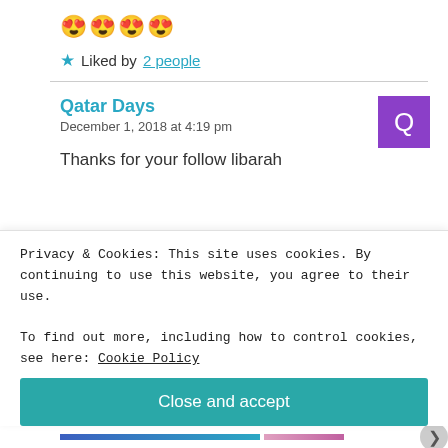[Figure (other): Four heart-eyes emoji icons in a row]
★ Liked by 2 people
Reply
Qatar Days
December 1, 2018 at 4:19 pm
Thanks for your follow libarah
Privacy & Cookies: This site uses cookies. By continuing to use this website, you agree to their use.
To find out more, including how to control cookies, see here: Cookie Policy
Close and accept